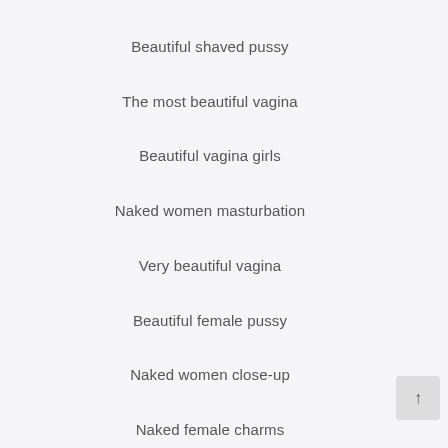Beautiful shaved pussy
The most beautiful vagina
Beautiful vagina girls
Naked women masturbation
Very beautiful vagina
Beautiful female pussy
Naked women close-up
Naked female charms